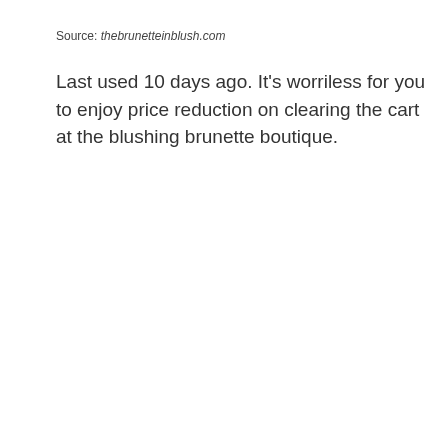Source: thebrunetteinblush.com
Last used 10 days ago. It's worriless for you to enjoy price reduction on clearing the cart at the blushing brunette boutique.